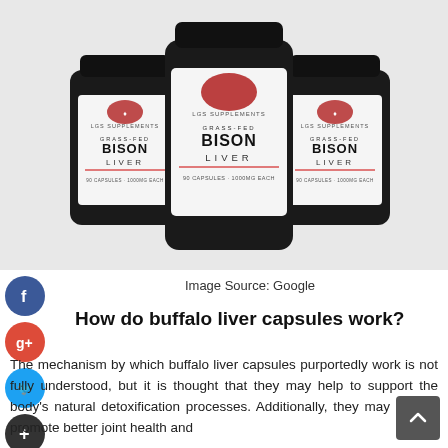[Figure (photo): Three black supplement bottles with white labels showing a red bison logo, reading GRASS-FED BISON LIVER, LGS Supplements, 90 Capsules - 1000mg Each. The center bottle is in front, flanked by two others slightly behind.]
Image Source: Google
How do buffalo liver capsules work?
The mechanism by which buffalo liver capsules purportedly work is not fully understood, but it is thought that they may help to support the body's natural detoxification processes. Additionally, they may help to promote better joint health and